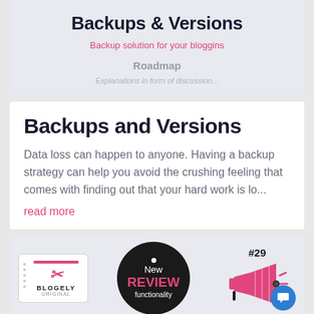Backups & Versions
Backup solution for your bloggins
Roadmap
Explanations in form of discussion...
Backups and Versions
Data loss can happen to anyone. Having a backup strategy can help you avoid the crushing feeling that comes with finding out that your hard work is lo...
read more
[Figure (infographic): Bottom banner with three elements: Blogely Original badge on the left, a circular black badge in the center saying 'New REVIEW functionality', and a megaphone illustration with #29 label and a blue chat bubble on the right]